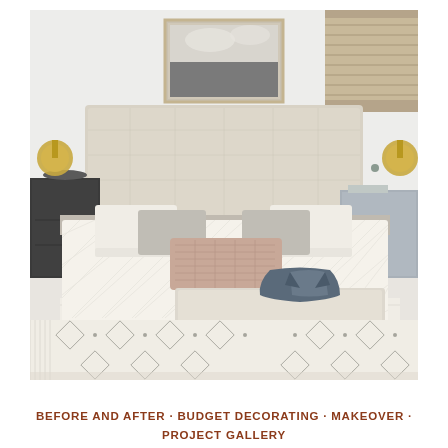[Figure (photo): Interior bedroom photo showing a neatly made bed with cream/white quilted bedding, beige upholstered headboard, assorted pillows including a terracotta patterned lumbar pillow, black nightstands on each side with gold lamps, a framed black and white landscape artwork above the headboard, a roman shade on the right window, an upholstered bench at the foot of the bed, a denim jacket draped over the bench, brown ankle boots on the floor, and a white Moroccan-style patterned area rug.]
BEFORE AND AFTER · BUDGET DECORATING · MAKEOVER · PROJECT GALLERY